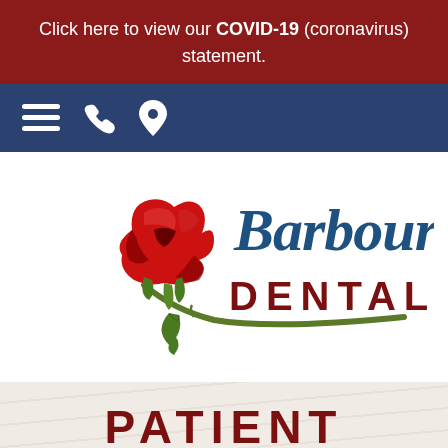Click here to view our COVID-19 (coronavirus) statement.
[Figure (other): Navigation bar with hamburger menu icon, phone icon, and location pin icon on dark navy background]
[Figure (logo): Barbour Dental logo with a red rose illustration. Script text 'Barbour' in dark blue and 'DENTAL' in bold dark red capital letters below.]
PATIENT